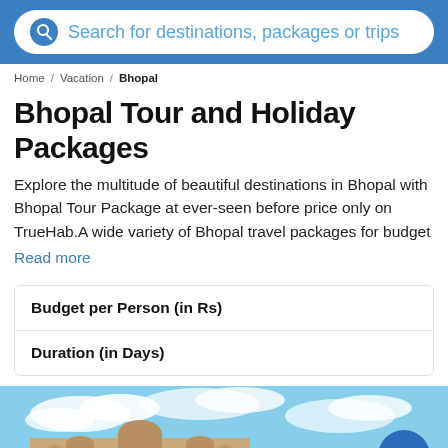Search for destinations, packages or trips
Home / Vacation / Bhopal
Bhopal Tour and Holiday Packages
Explore the multitude of beautiful destinations in Bhopal with Bhopal Tour Package at ever-seen before price only on TrueHab.A wide variety of Bhopal travel packages for budget
Read more
| Filter |
| --- |
| Budget per Person (in Rs) |
| Duration (in Days) |
[Figure (photo): Photo of Bhopal historical palace/fort building with blue sky background]